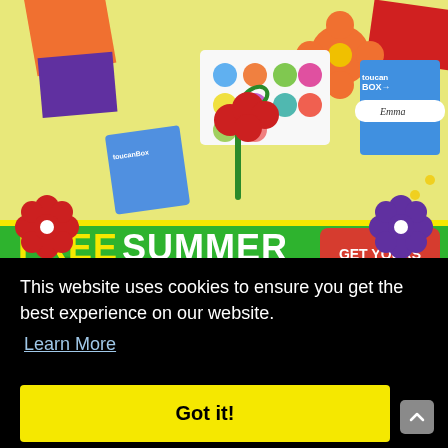[Figure (photo): ToucanBox craft kit advertisement banner showing craft materials, stickers, paper flowers, pipe cleaners, and a personalized blue ToucanBox labeled 'Emma' on a light yellow background. Green section at bottom reads 'FREE SUMMER FLOWER KIT' with a red 'GET YOURS NOW' button. Red and purple decorative flowers at sides.]
This website uses cookies to ensure you get the best experience on our website.
Learn More
Got it!